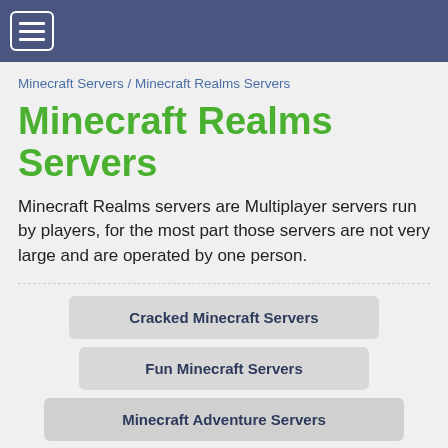☰
Minecraft Servers / Minecraft Realms Servers
Minecraft Realms Servers
Minecraft Realms servers are Multiplayer servers run by players, for the most part those servers are not very large and are operated by one person.
Cracked Minecraft Servers
Fun Minecraft Servers
Minecraft Adventure Servers
Minecraft Anarchy Servers
Minecraft Bedwars Servers
Minecraft Bukkit Servers